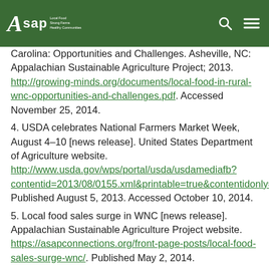ASAP - Local Food Strong Farms Healthy Communities
Carolina: Opportunities and Challenges. Asheville, NC: Appalachian Sustainable Agriculture Project; 2013. http://growing-minds.org/documents/local-food-in-rural-wnc-opportunities-and-challenges.pdf. Accessed November 25, 2014.
4. USDA celebrates National Farmers Market Week, August 4–10 [news release]. United States Department of Agriculture website. http://www.usda.gov/wps/portal/usda/usdamediafb?contentid=2013/08/0155.xml&printable=true&contentidonly=true. Published August 5, 2013. Accessed October 10, 2014.
5. Local food sales surge in WNC [news release]. Appalachian Sustainable Agriculture Project website. https://asapconnections.org/front-page-posts/local-food-sales-surge-wnc/. Published May 2, 2014.